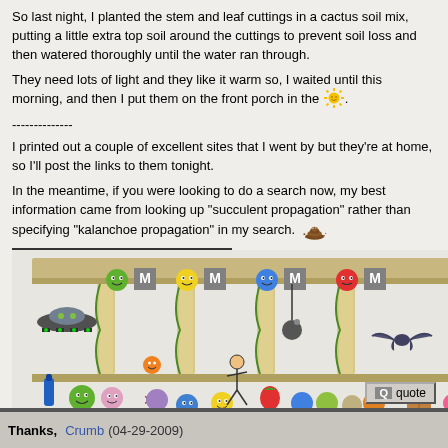So last night, I planted the stem and leaf cuttings in a cactus soil mix, putting a little extra top soil around the cuttings to prevent soil loss and then watered thoroughly until the water ran through.
They need lots of light and they like it warm so, I waited until this morning, and then I put them on the front porch in the [sun emoji].
--------------
I printed out a couple of excellent sites that I went by but they're at home, so I'll post the links to them tonight.
In the meantime, if you were looking to do a search now, my best information came from looking up "succulent propagation" rather than specifying "kalanchoe propagation" in my search. [poop emoji]
[Figure (illustration): Pixel art scene of a Space Invaders-style game with colorful emoji-like characters, a UFO, columns, and a bat, under a beige/tan structured top border.]
quote
Thanks,
Crumb (04-29-2009)